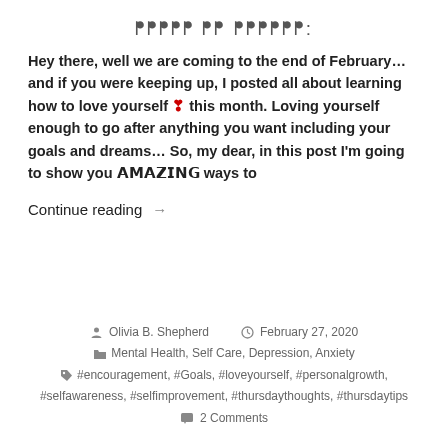ꀰꀰꀰꀰꀰ ꀰꀰ ꀰꀰꀰꀰꀰꀰ:
Hey there, well we are coming to the end of February… and if you were keeping up, I posted all about learning how to love yourself ❣ this month. Loving yourself enough to go after anything you want including your goals and dreams… So, my dear, in this post I'm going to show you 𝗔𝗠𝗔𝗭𝗜𝗡𝗚 ways to
Continue reading →
Olivia B. Shepherd   February 27, 2020   Mental Health, Self Care, Depression, Anxiety   #encouragement, #Goals, #loveyourself, #personalgrowth, #selfawareness, #selfimprovement, #thursdaythoughts, #thursdaytips   2 Comments